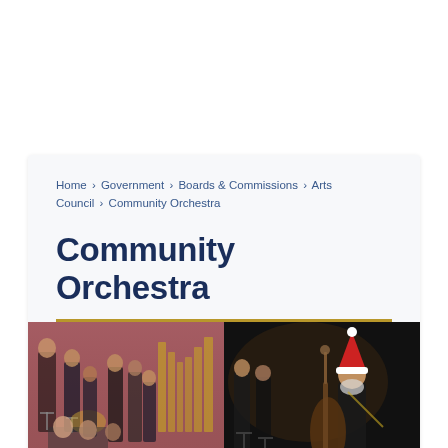Home › Government › Boards & Commissions › Arts Council › Community Orchestra
Community Orchestra
[Figure (photo): Two side-by-side photos of a community orchestra. Left photo shows musicians on stage with a warm reddish/pink curtain background, including brass players and string players. Right photo shows musicians performing on a dark stage, with one musician wearing a red Santa hat while playing a large string instrument (double bass).]